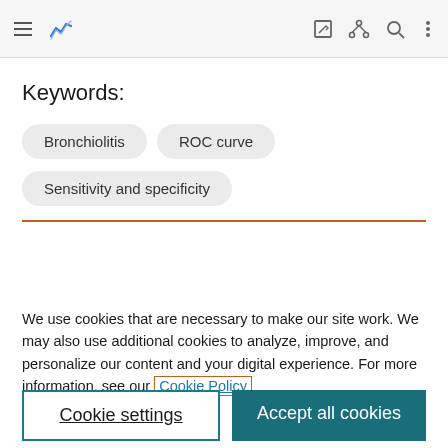Navigation bar with menu, logo, edit, share, search, and more icons
Keywords:
Bronchiolitis
ROC curve
Sensitivity and specificity
We use cookies that are necessary to make our site work. We may also use additional cookies to analyze, improve, and personalize our content and your digital experience. For more information, see our Cookie Policy
Cookie settings
Accept all cookies